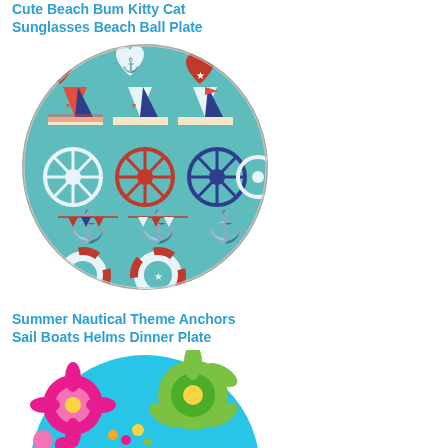Cute Beach Bum Kitty Cat Sunglasses Beach Ball Plate
[Figure (photo): Round decorative plate with nautical theme featuring sailboats, ship helms/wheels, anchors, and life rings on a teal/turquoise background with red, white, and navy blue patterns]
Summer Nautical Theme Anchors Sail Boats Helms Dinner Plate
[Figure (photo): Round decorative plate with tropical floral theme featuring pink hibiscus flowers and green tropical flowers on a bright blue/turquoise background]